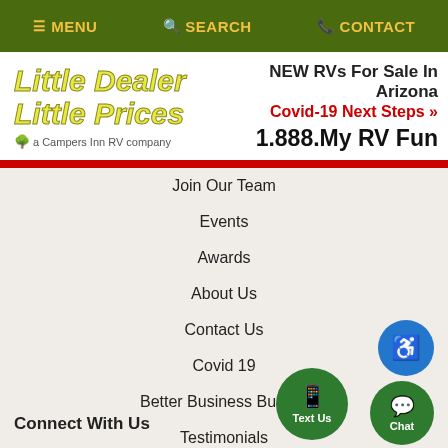≡ MENU  🔍 SEARCH  📞 CONTACT
[Figure (logo): Little Dealer Little Prices - a Campers Inn RV company logo]
NEW RVs For Sale In Arizona
Covid-19 Next Steps »
1.888.My RV Fun
Join Our Team
Events
Awards
About Us
Contact Us
Covid 19
Better Business Bureau
Testimonials
Top 50 RV Dealer Award
Connect With Us